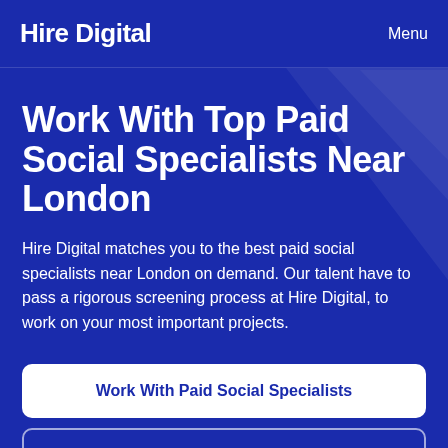Hire Digital  Menu
Work With Top Paid Social Specialists Near London
Hire Digital matches you to the best paid social specialists near London on demand. Our talent have to pass a rigorous screening process at Hire Digital, to work on your most important projects.
Work With Paid Social Specialists
Apply as a Paid Social Specialist